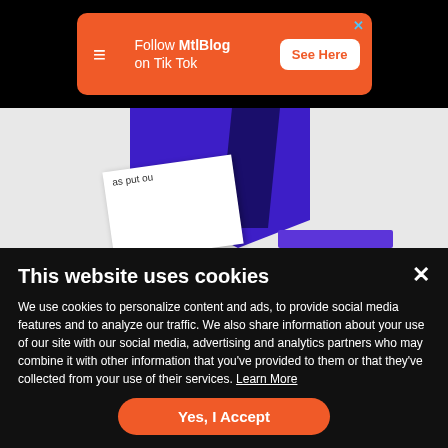[Figure (screenshot): Orange advertisement banner for MtlBlog TikTok with logo, text 'Follow MtlBlog on Tik Tok', and 'See Here' button]
[Figure (screenshot): Partial article image showing blue geometric shapes, white paper with text 'as put ou', and a purple bar]
MTL Blog uses cookies
This website uses cookies
We use cookies to personalize content and ads, to provide social media features and to analyze our traffic. We also share information about your use of our site with our social media, advertising and analytics partners who may combine it with other information that you've provided to them or that they've collected from your use of their services. Learn More
Yes, I Accept